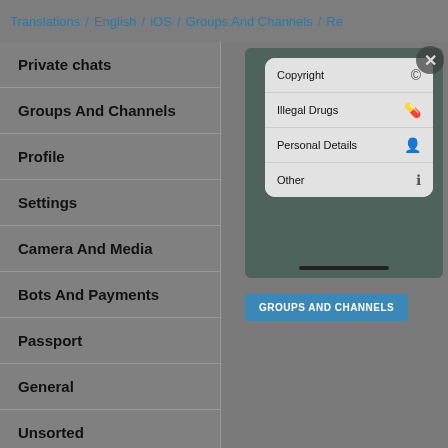Translations / English / iOS / Groups And Channels / Re
Private chats
Groups And Channels
Profile
Settings
Camera And Media
Bots And Payments
Passport
General
Unsorted
[Figure (screenshot): A mobile app screenshot showing a report/flag menu with options: Copyright, Illegal Drugs, Personal Details, Other — each with an icon. A close X button is visible in the top right corner, and a scroll handle is at the bottom.]
GROUPS AND CHANNELS